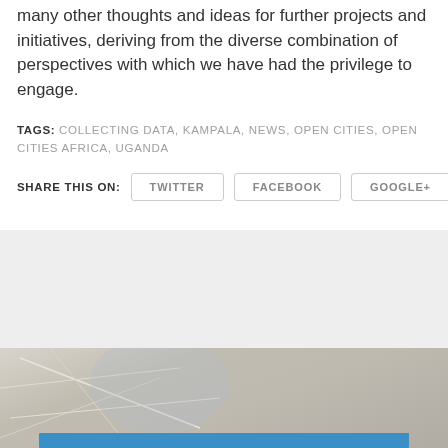many other thoughts and ideas for further projects and initiatives, deriving from the diverse combination of perspectives with which we have had the privilege to engage.
TAGS: COLLECTING DATA, KAMPALA, NEWS, OPEN CITIES, OPEN CITIES AFRICA, UGANDA
SHARE THIS ON: TWITTER  FACEBOOK  GOOGLE+
[Figure (photo): Gray background section with a map photo visible at the bottom, and a blue horizontal bar overlay at the very bottom.]